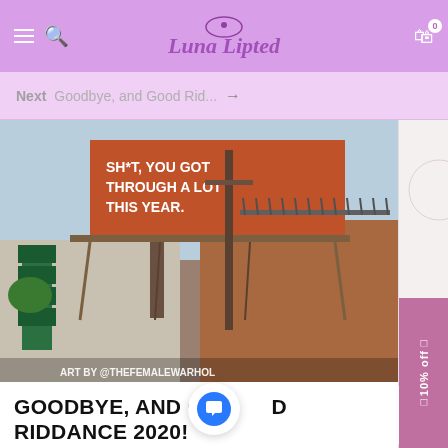Luna Lipted — navigation header with hamburger menu, search, logo, and cart icon
Next  Goodbye, and Good Rid...  →
[Figure (photo): Photo of a billboard on a street in Los Angeles reading 'SH*T, YOU GOT THROUGH A LOT THIS YEAR.' on an orange background, with building and street infrastructure visible. Watermark: ART BY @THEFEMALEWARHOL]
GOODBYE, AND GOOD RIDDANCE 2020!